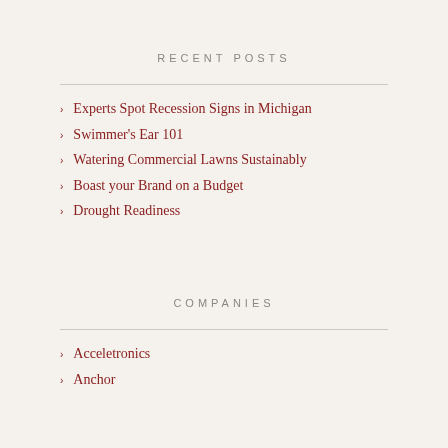RECENT POSTS
Experts Spot Recession Signs in Michigan
Swimmer's Ear 101
Watering Commercial Lawns Sustainably
Boast your Brand on a Budget
Drought Readiness
COMPANIES
Acceletronics
Anchor